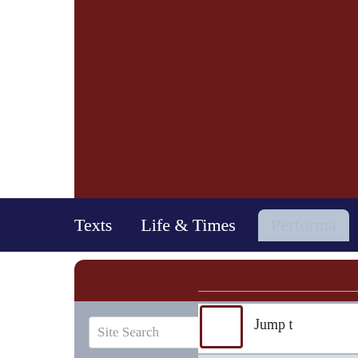[Figure (screenshot): Dark red header banner area at top of webpage]
Texts   Life & Times   Performa
[Figure (screenshot): Sidebar widget with dark red top bar, site search input field, dark red search button, and links: Print this page, Cite this page]
Print this page
Cite this page
[Figure (screenshot): Bottom section with horizontal rule, checkbox, and Jump t... label text, and another partial bar at bottom]